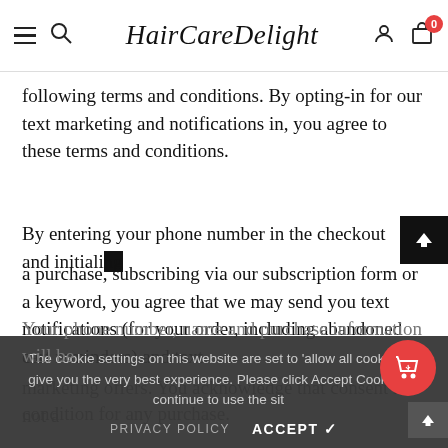HairCareDelight
following terms and conditions. By opting-in for our text marketing and notifications in, you agree to these terms and conditions.
By entering your phone number in the checkout and initializing a purchase, subscribing via our subscription form or a keyword, you agree that we may send you text notifications (for your order, including abandoned cart reminders) and text marketing offers. You acknowledge that consent is not a condition for any purchase.
The cookie settings on this website are set to ‘allow all cookies’ to give you the very best experience. Please click Accept Cookies to continue to use the site.
PRIVACY POLICY   ACCEPT ✓
Your phone number, name and purchase information will be